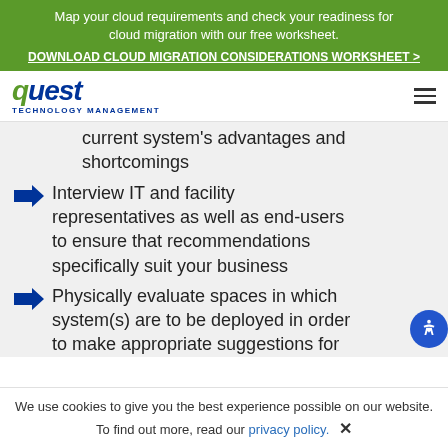Map your cloud requirements and check your readiness for cloud migration with our free worksheet. DOWNLOAD CLOUD MIGRATION CONSIDERATIONS WORKSHEET >
[Figure (logo): Quest Technology Management logo with blue stylized text and green accent]
current system's advantages and shortcomings
Interview IT and facility representatives as well as end-users to ensure that recommendations specifically suit your business
Physically evaluate spaces in which system(s) are to be deployed in order to make appropriate suggestions for
We use cookies to give you the best experience possible on our website. To find out more, read our privacy policy.